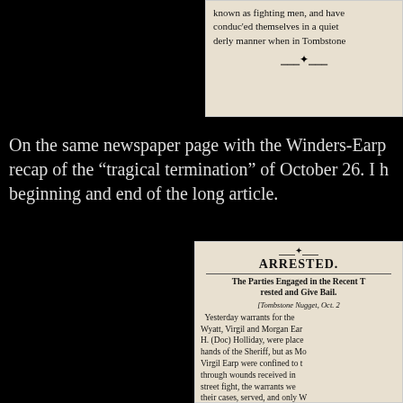[Figure (photo): Top newspaper clipping showing text about 'fighting men' who 'conducted themselves in a quiet orderly manner when in Tombstone']
On the same newspaper page with the Winders-Earp recap of the "tragical termination" of October 26. I h beginning and end of the long article.
[Figure (photo): Bottom newspaper clipping with headline 'ARRESTED.' and subheading 'The Parties Engaged in the Recent T- rested and Give Bail.' [Tombstone Nugget, Oct. 2-] Text discusses warrants for Wyatt, Virgil and Morgan Earp and H. (Doc) Holliday being placed in hands of the Sheriff, but as Mo- and Virgil Earp were confined to t- through wounds received in the street fight, the warrants we- their cases, served, and only W- and Holliday place- under arr-]